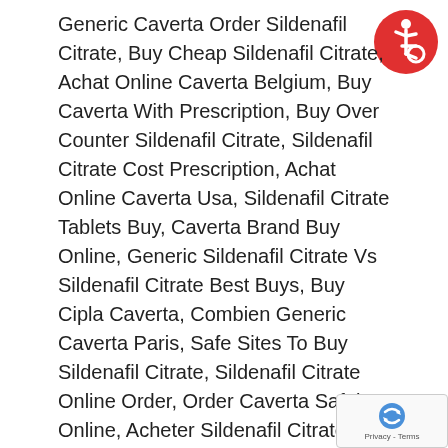Generic Caverta Order Sildenafil Citrate, Buy Cheap Sildenafil Citrate, Achat Online Caverta Belgium, Buy Caverta With Prescription, Buy Over Counter Sildenafil Citrate, Sildenafil Citrate Cost Prescription, Achat Online Caverta Usa, Sildenafil Citrate Tablets Buy, Caverta Brand Buy Online, Generic Sildenafil Citrate Vs Sildenafil Citrate Best Buys, Buy Cipla Caverta, Combien Generic Caverta Paris, Safe Sites To Buy Sildenafil Citrate, Sildenafil Citrate Online Order, Order Caverta Safely Online, Acheter Sildenafil Citrate Internet Sans Risque, Order Cheap Caverta Inghilterra, Where To Buy Online Caverta Inglaterra, Medicament Sildenafil Citrate Achat, Caverta Buy Next Day Delivery, Caverta Costo En Pesos, Can You Order Caverta Online No Prescription, Köp Cheap Caverta Detroit, Quanto Costa Il Caverta Generico In Farmacia, Acheter Sildenafil Citrate Sans Ordonnance Pharmacie, Sildenafil Citrate To Buy, Order Sildenafil Citrate Mail, Buy Cheap Caverta Line, Order Book...
[Figure (other): Red circular accessibility icon badge with wheelchair symbol in white]
[Figure (other): Google reCAPTCHA badge with recaptcha logo and Privacy - Terms text]